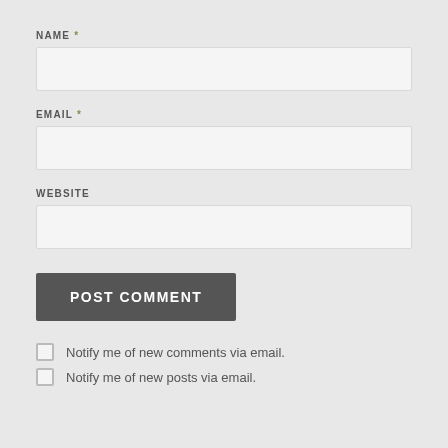NAME *
EMAIL *
WEBSITE
POST COMMENT
Notify me of new comments via email.
Notify me of new posts via email.